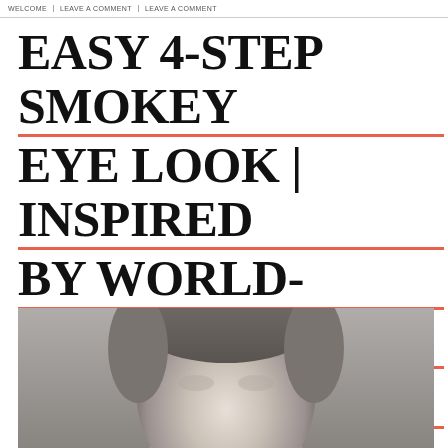WELCOME / LEAVE A COMMENT / LEAVE A COMMENT
EASY 4-STEP SMOKEY EYE LOOK | INSPIRED BY WORLD-RENOWNED MAKEUP ARTIST JILLIAN DEMPSEY
[Figure (photo): Black and white portrait photo of a person, cropped to show upper head/face area]